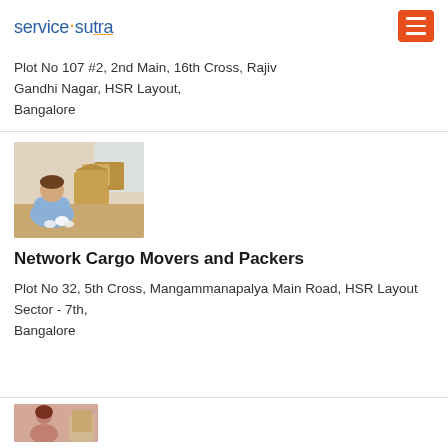servicesutra
Plot No 107 #2, 2nd Main, 16th Cross, Rajiv Gandhi Nagar, HSR Layout, Bangalore
[Figure (photo): Man packing items into cardboard boxes]
Network Cargo Movers and Packers
Plot No 32, 5th Cross, Mangammanapalya Main Road, HSR Layout Sector - 7th, Bangalore
[Figure (photo): Partial view of another listing image at bottom]